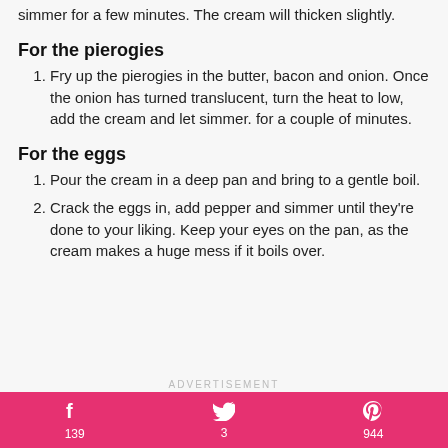simmer for a few minutes. The cream will thicken slightly.
For the pierogies
Fry up the pierogies in the butter, bacon and onion. Once the onion has turned translucent, turn the heat to low, add the cream and let simmer. for a couple of minutes.
For the eggs
Pour the cream in a deep pan and bring to a gentle boil.
Crack the eggs in, add pepper and simmer until they're done to your liking. Keep your eyes on the pan, as the cream makes a huge mess if it boils over.
ADVERTISEMENT
f 139  3  p 944